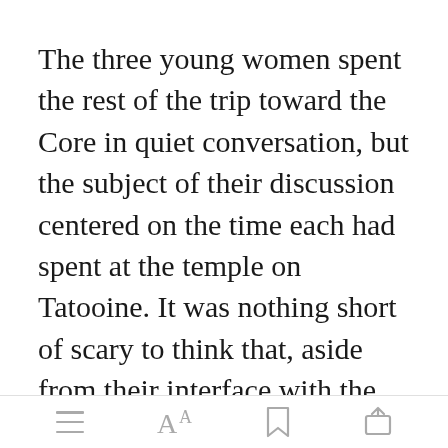The three young women spent the rest of the trip toward the Core in quiet conversation, but the subject of their discussion centered on the time each had spent at the temple on Tatooine. It was nothing short of scary to think that, aside from their interface with the Force, such memories could be unceremoniously ripped away.
[toolbar with menu, font, bookmark, share icons]